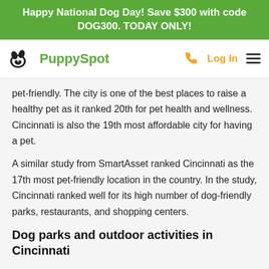Happy National Dog Day! Save $300 with code DOG300. TODAY ONLY!
[Figure (logo): PuppySpot logo with dog paw icon and navigation bar including phone icon, Log In link, and hamburger menu]
pet-friendly. The city is one of the best places to raise a healthy pet as it ranked 20th for pet health and wellness. Cincinnati is also the 19th most affordable city for having a pet.
A similar study from SmartAsset ranked Cincinnati as the 17th most pet-friendly location in the country. In the study, Cincinnati ranked well for its high number of dog-friendly parks, restaurants, and shopping centers.
Dog parks and outdoor activities in Cincinnati